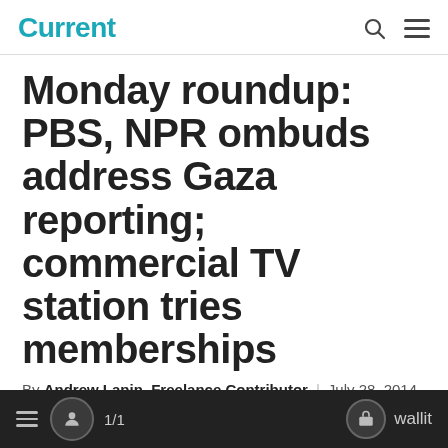Current
Monday roundup: PBS, NPR ombuds address Gaza reporting; commercial TV station tries memberships
By Andrew Lapin, Freelance Contributor | July 28, 2014
[Figure (infographic): Social share bar with Facebook (blue), Twitter (light blue), Email (gray), Print (gray), and plus/add button (orange)]
≡ [user icon] 1/1 [lock icon] wallit